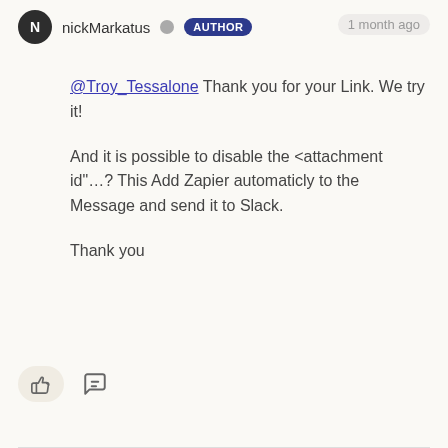nickMarkatus  AUTHOR
1 month ago
@Troy_Tessalone Thank you for your Link. We try it!

And it is possible to disable the <attachment id"...? This Add Zapier automaticly to the Message and send it to Slack.

Thank you